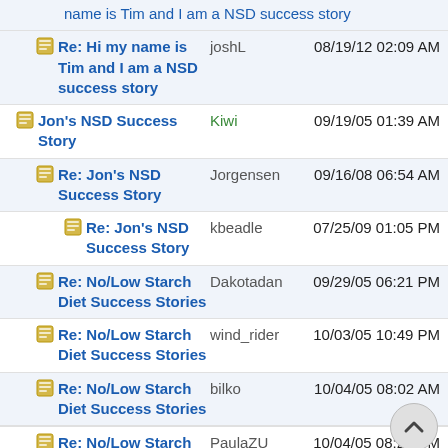Re: Hi my name is Tim and I am a NSD success story | joshL | 08/19/12 02:09 AM
Jon's NSD Success Story | Kiwi | 09/19/05 01:39 AM
Re: Jon's NSD Success Story | Jorgensen | 09/16/08 06:54 AM
Re: Jon's NSD Success Story | kbeadle | 07/25/09 01:05 PM
Re: No/Low Starch Diet Success Stories | Dakotadan | 09/29/05 06:21 PM
Re: No/Low Starch Diet Success Stories | wind_rider | 10/03/05 10:49 PM
Re: No/Low Starch Diet Success Stories | bilko | 10/04/05 08:02 AM
Re: No/Low Starch Diet Success Stories | PaulaZU | 10/04/05 08:28 PM